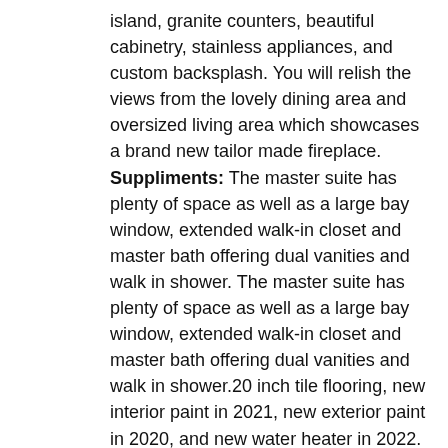island, granite counters, beautiful cabinetry, stainless appliances, and custom backsplash. You will relish the views from the lovely dining area and oversized living area which showcases a brand new tailor made fireplace. Suppliments: The master suite has plenty of space as well as a large bay window, extended walk-in closet and master bath offering dual vanities and walk in shower. The master suite has plenty of space as well as a large bay window, extended walk-in closet and master bath offering dual vanities and walk in shower.20 inch tile flooring, new interior paint in 2021, new exterior paint in 2020, and new water heater in 2022. Professionally landscaped in both the front and rear with low maintenance and drip system. The backyard is perfect for peaceful summer evenings or guest entertainment with covered paver back patio, shades for privacy and coverage, and plenty of space for the kids or animals. You will love the picture perfect views as you soak up luxury living in StoneRIdge, The StoneRidge Community